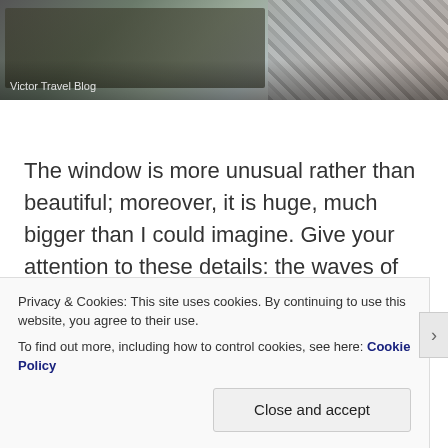[Figure (photo): Cobblestone street or walkway with stone tiles and what appears to be a metal railing or fence, overlaid with 'Victor Travel Blog' watermark text.]
Victor Travel Blog
The window is more unusual rather than beautiful; moreover, it is huge, much bigger than I could imagine. Give your attention to these details: the waves of nautical ropes, marine plants, navigational instruments, the symbol of Christianity, and the Knights Templar's Red Cross.
Privacy & Cookies: This site uses cookies. By continuing to use this website, you agree to their use.
To find out more, including how to control cookies, see here: Cookie Policy
Close and accept